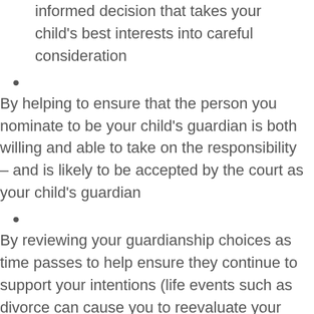informed decision that takes your child's best interests into careful consideration
By helping to ensure that the person you nominate to be your child's guardian is both willing and able to take on the responsibility – and is likely to be accepted by the court as your child's guardian
By reviewing your guardianship choices as time passes to help ensure they continue to support your intentions (life events such as divorce can cause you to reevaluate your choices)
By specifically including any wishes that are important to you regarding your child's upbringing, such as his